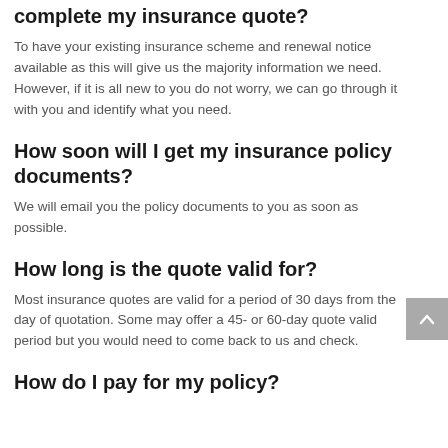complete my insurance quote?
To have your existing insurance scheme and renewal notice available as this will give us the majority information we need. However, if it is all new to you do not worry, we can go through it with you and identify what you need.
How soon will I get my insurance policy documents?
We will email you the policy documents to you as soon as possible.
How long is the quote valid for?
Most insurance quotes are valid for a period of 30 days from the day of quotation. Some may offer a 45- or 60-day quote valid period but you would need to come back to us and check.
How do I pay for my policy?